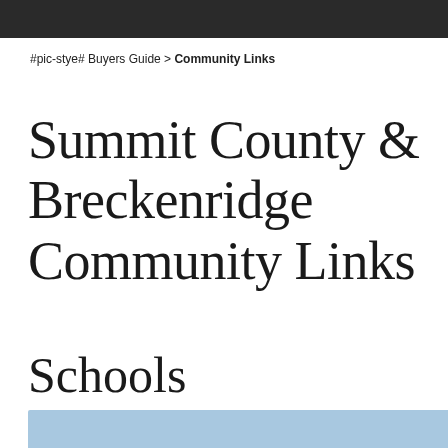#pic-stye# Buyers Guide > Community Links
Summit County & Breckenridge Community Links
Schools